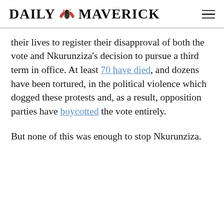DAILY MAVERICK
their lives to register their disapproval of both the vote and Nkurunziza's decision to pursue a third term in office. At least 70 have died, and dozens have been tortured, in the political violence which dogged these protests and, as a result, opposition parties have boycotted the vote entirely.
But none of this was enough to stop Nkurunziza. On Monday, the first leg of the electoral process began with parliamentary elections, with the presidential poll scheduled for 15 July. Without the participation of any opposition, and with terrified would-be voters staying away, the vote is a sham. Wh...